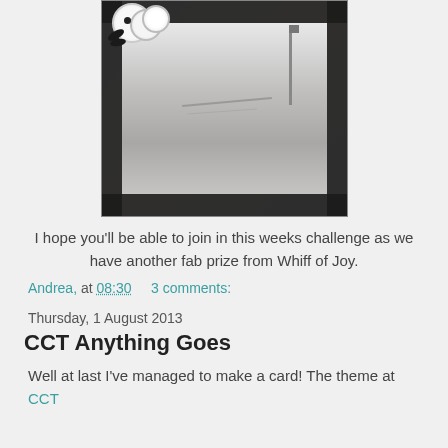[Figure (photo): A decorative handmade card displayed upright. The card features a black and white vintage street/bridge scene photo in the center, surrounded by a black and white damask patterned border. The top left corner is decorated with white flower embellishments (fabric and paper flowers) and dark leaf/branch accents.]
I hope you'll be able to join in this weeks challenge as we have another fab prize from Whiff of Joy.
Andrea,  at 08:30    3 comments:
Thursday, 1 August 2013
CCT Anything Goes
Well at last I've managed to make a card! The theme at CCT